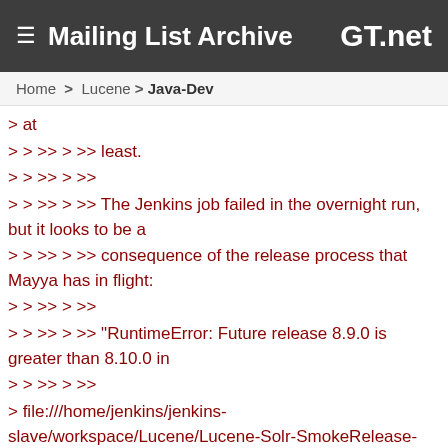≡ Mailing List Archive  GT.net
Home > Lucene > Java-Dev
> at
> > >> > >> least.
> > >> > >>
> > >> > >> The Jenkins job failed in the overnight run, but it looks to be a
> > >> > >> consequence of the release process that Mayya has in flight:
> > >> > >>
> > >> > >> "RuntimeError: Future release 8.9.0 is greater than 8.10.0 in
> > >> > >>
> file:///home/jenkins/jenkins-slave/workspace/Lucene/Lucene-Solr-SmokeRelease-8.x/lucene/build/smokeTestRelease/dist/lucene/changes/Changes.html
> > >> > >>
> > >> > >> If anyone sees the "gcs-repository" related error message crop up
> > >> > >> anywhere else, please let me know.